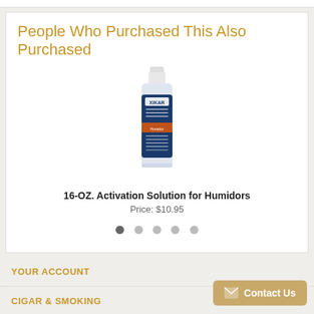People Who Purchased This Also Purchased
[Figure (photo): Bottle of XIKAR 16-OZ Activation Solution for Humidors]
16-OZ. Activation Solution for Humidors
Price: $10.95
YOUR ACCOUNT
CIGAR & SMOKING